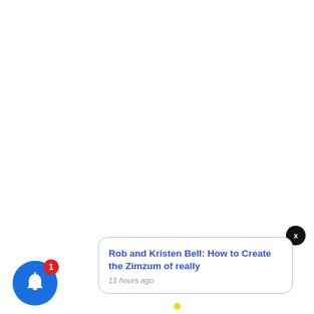[Figure (screenshot): A push notification card with a blue bell icon on the left with a red badge showing '1', a white notification popup with blue border showing title 'Rob and Kristen Bell: How to Create the Zimzum of really' and timestamp '11 hours ago', and a black close button with 'x' in the upper right corner of the notification.]